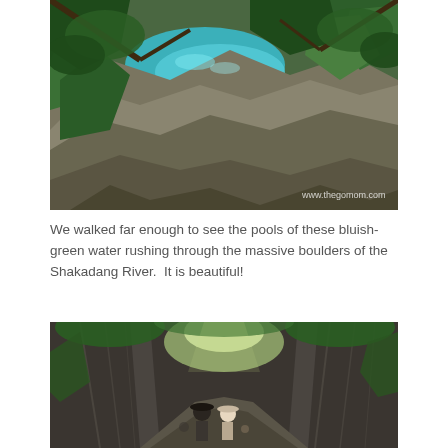[Figure (photo): Aerial view looking down at bluish-green water of the Shakadang River rushing through large boulders and rocks, surrounded by lush green vegetation and trees. Watermark reads www.thegomom.com in the bottom right corner.]
We walked far enough to see the pools of these bluish-green water rushing through the massive boulders of the Shakadang River.  It is beautiful!
[Figure (photo): Two people wearing hats walking through a narrow rocky gorge corridor with steep stone walls on both sides and lush green tree canopy overhead letting in light. Other hikers visible in the background.]